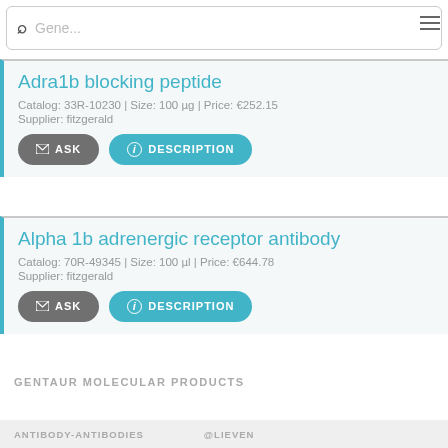Gene...
Adra1b blocking peptide
Catalog: 33R-10230 | Size: 100 µg | Price: €252.15
Supplier: fitzgerald
Alpha 1b adrenergic receptor antibody
Catalog: 70R-49345 | Size: 100 µl | Price: €644.78
Supplier: fitzgerald
GENTAUR MOLECULAR PRODUCTS
ANTIBODY-ANTIBODIES     @LIEVEN